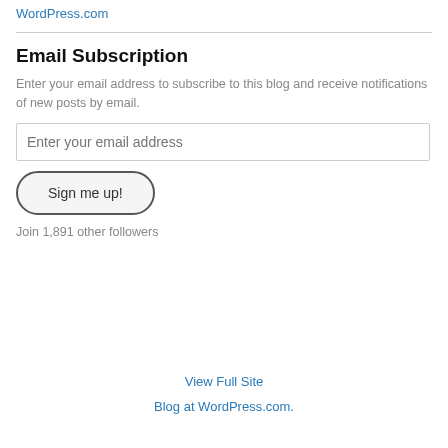WordPress.com
Email Subscription
Enter your email address to subscribe to this blog and receive notifications of new posts by email.
Enter your email address
Sign me up!
Join 1,891 other followers
View Full Site
Blog at WordPress.com.